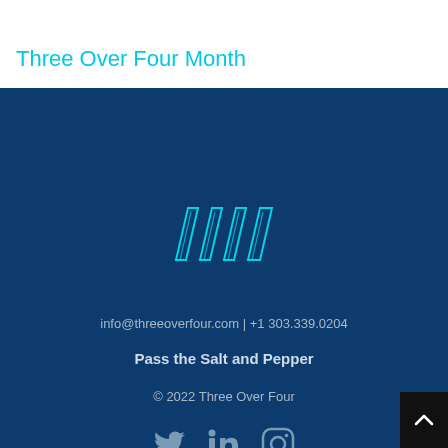Three Over Four Month
[Figure (logo): Three Over Four logo: four diagonal parallel lines/slashes in cyan/teal color on dark blue background]
info@threeoverfour.com | +1 303.339.0204
Pass the Salt and Pepper
© 2022 Three Over Four
[Figure (other): Social media icons: Twitter bird, LinkedIn 'in', Instagram camera outline — all in muted blue-gray color]
[Figure (other): Back to top button: black square with white upward chevron arrow]